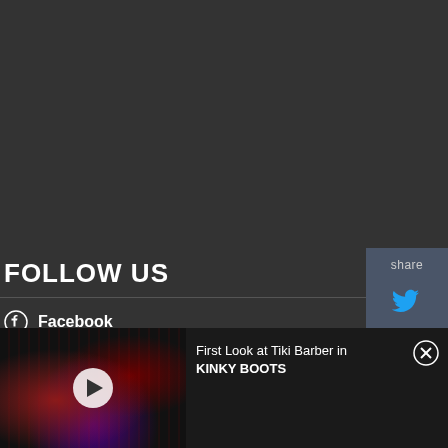[Figure (infographic): Share panel with Twitter and Facebook icons on dark slate background, positioned top-right]
FOLLOW US
Facebook
Twitter
Instagram
[Figure (screenshot): Video thumbnail showing stage with red lighting effects for Kinky Boots production, with play button overlay]
First Look at Tiki Barber in KINKY BOOTS